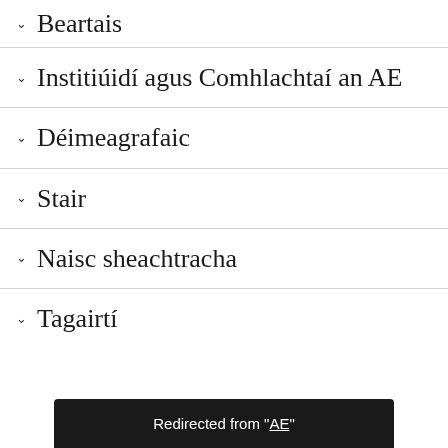Beartais
Institiúidí agus Comhlachtaí an AE
Déimeagrafaic
Stair
Naisc sheachtracha
Tagairtí
Redirected from "AE"